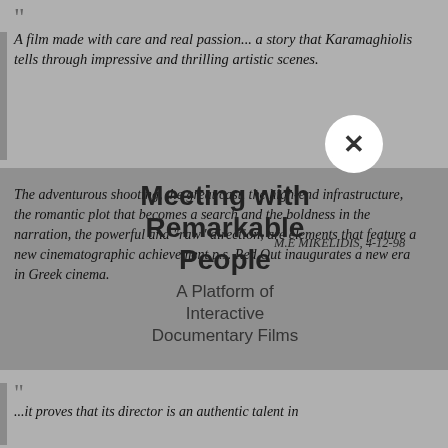“A film made with care and real passion... a story that Karamaghiolis tells through impressive and thrilling artistic scenes.
M.E MIKELIDIS, 4-12-98
Meeting with Remarkable People
A Platform of Interactive Documentary Films
[Figure (photo): Film poster for 'Meeting with Remarkable People' showing a man with closed eyes against a grey background. Text overlay reads: MEETING WITH REMARKABLE PEOPLE, a Platform of Interactive Documentary Films, experience the stories expanded in space and time with augmented material at remarkablepeople.gr]
The adventurous shooting, the great cast, the high-end infrastructure, the romantic plot that becomes a search and the boldness in the narration, the powerful and “raw” direction, are elements that feature a new cinematographic achievement p.s. Red Out inaugurates a new era in Greek cinema.
“NIKI”, 4-12-98
“
...it proves that its director is an authentic talent in